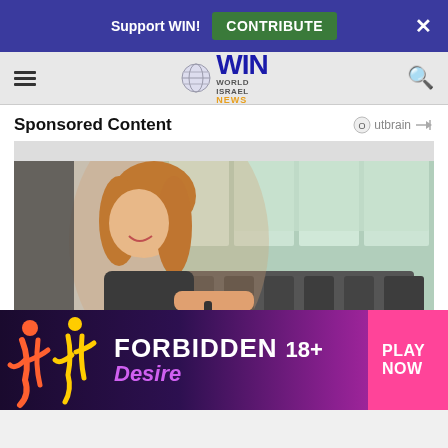Support WIN! CONTRIBUTE ×
WIN World Israel News (logo/navigation bar)
Sponsored Content
[Figure (photo): Woman smiling on a stationary spin bike in a bright gym with large windows and rows of exercise bikes]
[Figure (infographic): Advertisement banner: FORBIDDEN Desire 18+ PLAY NOW]